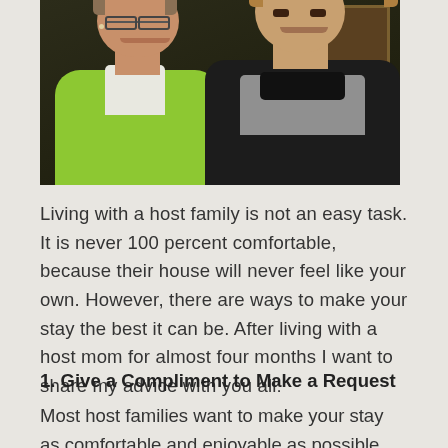[Figure (photo): Two women posing together and smiling. The woman on the left is older, wearing glasses and a green top. The woman on the right is younger, wearing a black leather jacket over a gray shirt. Dark background.]
Living with a host family is not an easy task. It is never 100 percent comfortable, because their house will never feel like your own. However, there are ways to make your stay the best it can be. After living with a host mom for almost four months I want to share my advice with you all:
1. Give a Compliment to Make a Request
Most host families want to make your stay as comfortable and enjoyable as possible. This does not